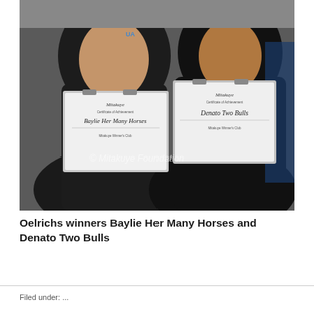[Figure (photo): Two young people wearing black hoodies holding framed certificates. The left person holds a certificate reading 'Baylie Her Many Horses' from 'Mitakuye Winner's Club'. The right person holds a certificate reading 'Denato Two Bulls' from 'Mitakuye Winner's Club'. A watermark reads '© Mitakuye Foundation'.]
Oelrichs winners Baylie Her Many Horses and Denato Two Bulls